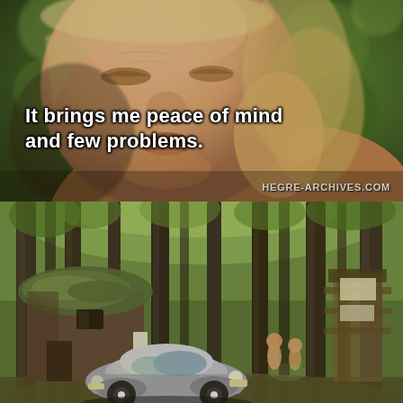[Figure (photo): Close-up of an older man with thinning blonde/grey hair, eyes mostly closed, blurred green background suggesting an outdoor forest setting. The man appears to be speaking.]
It brings me peace of mind and few problems.
HEGRE-ARCHIVES.COM
[Figure (photo): Outdoor scene in a forested area with tall trees, a rustic cabin or structure on the left with a moss-covered roof, a vintage Volkswagen Beetle car in the foreground, and two or more people standing in the middle distance among the trees.]